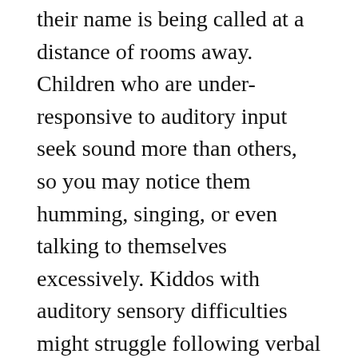their name is being called at a distance of rooms away. Children who are under-responsive to auditory input seek sound more than others, so you may notice them humming, singing, or even talking to themselves excessively. Kiddos with auditory sensory difficulties might struggle following verbal directions, as well as struggling to discriminate between sounds in a noisy environment.
Over-responsive
On the other hand, over-responsiveness to auditory input can look like sensitivity to loud music or TV, which may result in